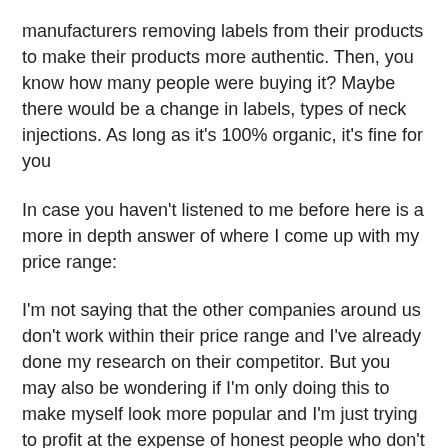manufacturers removing labels from their products to make their products more authentic. Then, you know how many people were buying it? Maybe there would be a change in labels, types of neck injections. As long as it's 100% organic, it's fine for you
In case you haven't listened to me before here is a more in depth answer of where I come up with my price range:
I'm not saying that the other companies around us don't work within their price range and I've already done my research on their competitor. But you may also be wondering if I'm only doing this to make myself look more popular and I'm just trying to profit at the expense of honest people who don't need their products at such prices, best caffeine pills for weight loss. For me, I've never been one to be afraid to change prices for some